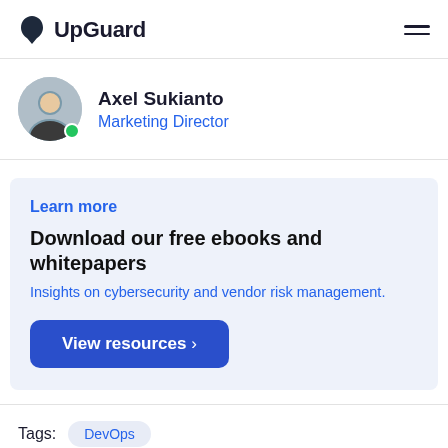UpGuard
Axel Sukianto
Marketing Director
Learn more
Download our free ebooks and whitepapers
Insights on cybersecurity and vendor risk management.
View resources >
Tags: DevOps